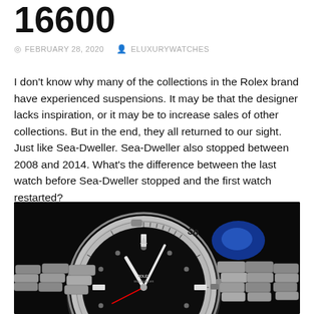16600
FEBRUARY 28, 2020   ELUXURYWATCHES
I don't know why many of the collections in the Rolex brand have experienced suspensions. It may be that the designer lacks inspiration, or it may be to increase sales of other collections. But in the end, they all returned to our sight. Just like Sea-Dweller. Sea-Dweller also stopped between 2008 and 2014. What's the difference between the last watch before Sea-Dweller stopped and the first watch restarted?
[Figure (photo): Close-up photograph of a Rolex Sea-Dweller watch with black dial and stainless steel bezel and bracelet, showing numbers 40 and 50 on the rotating bezel, on a dark background with a blue light visible.]